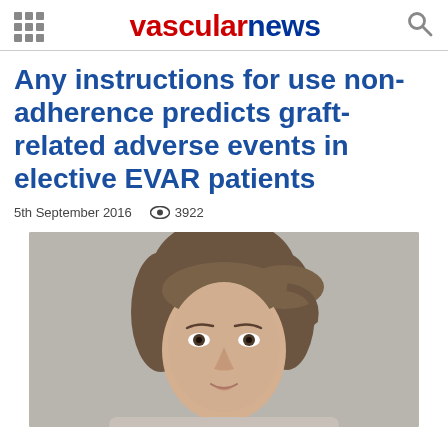vascularnews
Any instructions for use non-adherence predicts graft-related adverse events in elective EVAR patients
5th September 2016   3922
[Figure (photo): Portrait photo of a woman with brown hair pulled back, looking at the camera, against a grey background]